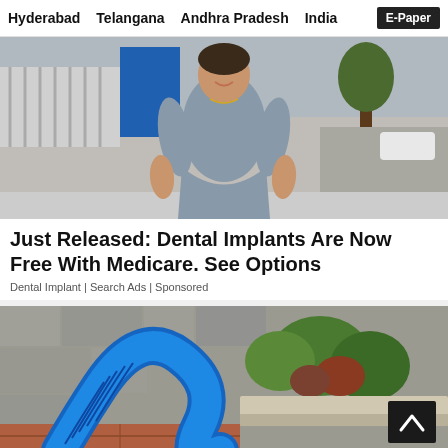Hyderabad   Telangana   Andhra Pradesh   India   E-Paper
[Figure (photo): Woman in grey/blue short-sleeve dress smiling on a city sidewalk with buildings and a tree in the background]
Just Released: Dental Implants Are Now Free With Medicare. See Options
Dental Implant | Search Ads | Sponsored
[Figure (photo): Close-up of a blue flexible hose/tube with garden plants and a stone wall in the background, with a dark scroll-to-top arrow button in the bottom right corner]